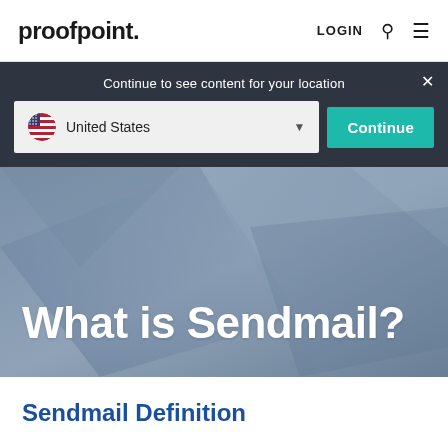proofpoint. LOGIN
Continue to see content for your location
United States
Continue
[Figure (screenshot): Proofpoint website screenshot showing navigation header, location selector popup with United States dropdown and Continue button, and hero banner with What is Sendmail? heading over a blue-grey geometric background]
What is Sendmail?
Sendmail Definition